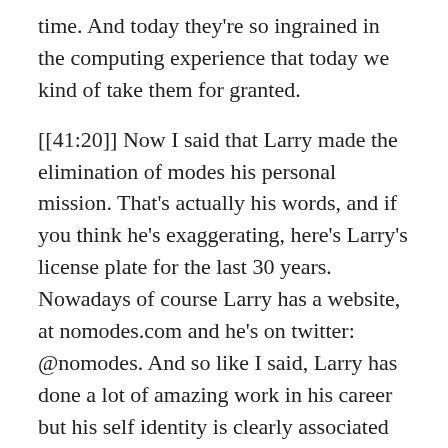time. And today they're so ingrained in the computing experience that today we kind of take them for granted.
[[41:20]] Now I said that Larry made the elimination of modes his personal mission. That's actually his words, and if you think he's exaggerating, here's Larry's license plate for the last 30 years. Nowadays of course Larry has a website, at nomodes.com and he's on twitter: @nomodes. And so like I said, Larry has done a lot of amazing work in his career but his self identity is clearly associated with this cause.
[[41:46]] And so I'd like to ask: What exactly did Larry do? Like how could we best describe what Larry did? A typical biography might say Larry Tesler invented Cut, Copy, Paste. Which is true, but I think that's really misleading, because this invention was very different